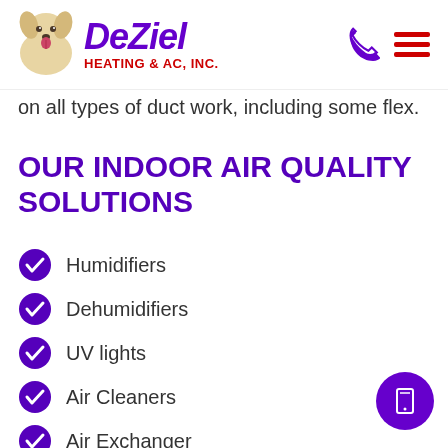[Figure (logo): DeZiel Heating & AC, Inc. logo with dog mascot, purple italic brand name, red subtitle, phone icon and hamburger menu]
on all types of duct work, including some flex.
OUR INDOOR AIR QUALITY SOLUTIONS
Humidifiers
Dehumidifiers
UV lights
Air Cleaners
Air Exchanger
Honeywell Wireless FocusPro Programmable Thermostats